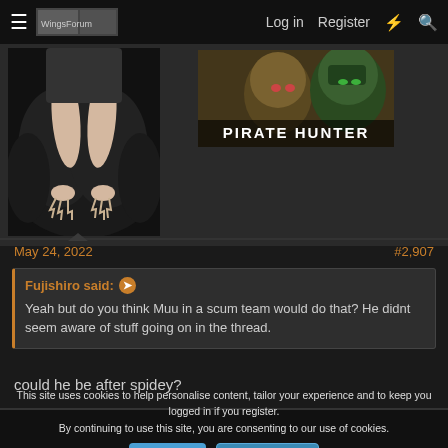Log in   Register
[Figure (illustration): Left image: anime/game character legs in black bodysuit with clawed feet, stylized illustration. Right image: 'PIRATE HUNTER' banner with a character face on dark background.]
May 24, 2022
#2,907
Fujishiro said: ➤
Yeah but do you think Muu in a scum team would do that? He didnt seem aware of stuff going on in the thread.
could he be after spidey?
This site uses cookies to help personalise content, tailor your experience and to keep you logged in if you register.
By continuing to use this site, you are consenting to our use of cookies.